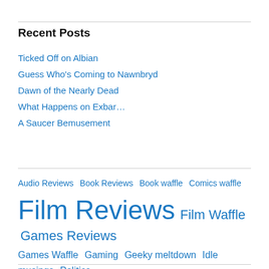Recent Posts
Ticked Off on Albian
Guess Who's Coming to Nawnbryd
Dawn of the Nearly Dead
What Happens on Exbar…
A Saucer Bemusement
Audio Reviews  Book Reviews  Book waffle  Comics waffle  Film Reviews  Film Waffle  Games Reviews  Games Waffle  Gaming  Geeky meltdown  Idle musings  Politics  Reviews  The Hazards of Uke  TV Reviews  TV Waffle  Unwelcome autobiographical rambling  Writing